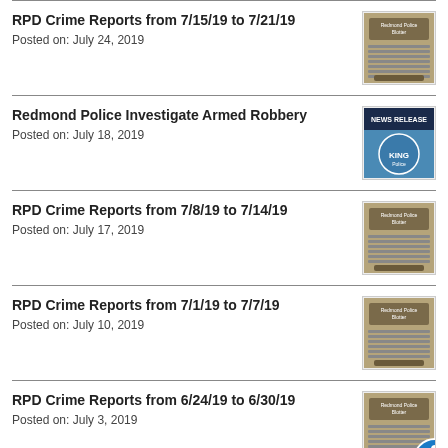RPD Crime Reports from 7/15/19 to 7/21/19
Posted on: July 24, 2019
Redmond Police Investigate Armed Robbery
Posted on: July 18, 2019
RPD Crime Reports from 7/8/19 to 7/14/19
Posted on: July 17, 2019
RPD Crime Reports from 7/1/19 to 7/7/19
Posted on: July 10, 2019
RPD Crime Reports from 6/24/19 to 6/30/19
Posted on: July 3, 2019
Redmond Police Continue Investigation into Fagerlie